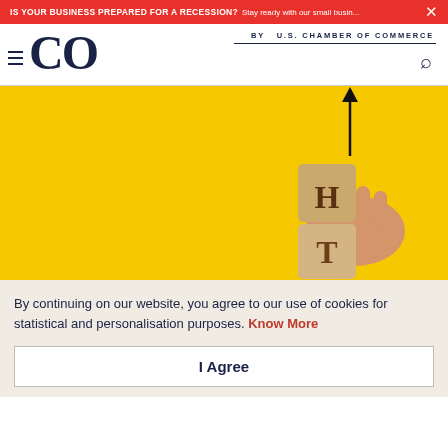IS YOUR BUSINESS PREPARED FOR A RECESSION? Stay ready with our small busin... ×
[Figure (logo): CO by U.S. Chamber of Commerce logo with hamburger menu icon and search icon]
[Figure (photo): Yellow background with wooden letter blocks spelling H over T, hand placing H block with upward arrow above]
By continuing on our website, you agree to our use of cookies for statistical and personalisation purposes. Know More
I Agree